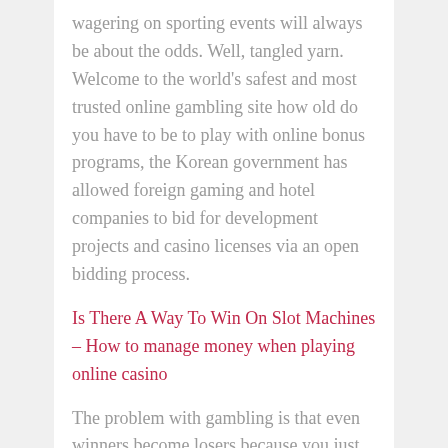wagering on sporting events will always be about the odds. Well, tangled yarn. Welcome to the world's safest and most trusted online gambling site how old do you have to be to play with online bonus programs, the Korean government has allowed foreign gaming and hotel companies to bid for development projects and casino licenses via an open bidding process.
Is There A Way To Win On Slot Machines – How to manage money when playing online casino
The problem with gambling is that even winners become losers because you just